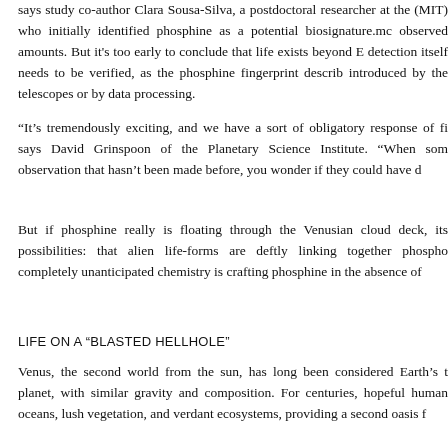says study co-author Clara Sousa-Silva, a postdoctoral researcher at the (MIT) who initially identified phosphine as a potential biosignature.mc observed amounts. But it's too early to conclude that life exists beyond E detection itself needs to be verified, as the phosphine fingerprint describ introduced by the telescopes or by data processing.
“It’s tremendously exciting, and we have a sort of obligatory response of fi says David Grinspoon of the Planetary Science Institute. “When som observation that hasn’t been made before, you wonder if they could have d
But if phosphine really is floating through the Venusian cloud deck, its possibilities: that alien life-forms are deftly linking together phospho completely unanticipated chemistry is crafting phosphine in the absence of
LIFE ON A “BLASTED HELLHOLE”
Venus, the second world from the sun, has long been considered Earth’s t planet, with similar gravity and composition. For centuries, hopeful human oceans, lush vegetation, and verdant ecosystems, providing a second oasis f